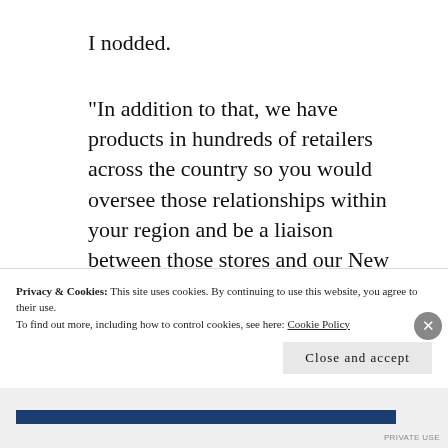I nodded.
“In addition to that, we have products in hundreds of retailers across the country so you would oversee those relationships within your region and be a liaison between those stores and our New York office.”
I nodded again.
Privacy & Cookies: This site uses cookies. By continuing to use this website, you agree to their use.
To find out more, including how to control cookies, see here: Cookie Policy
Close and accept